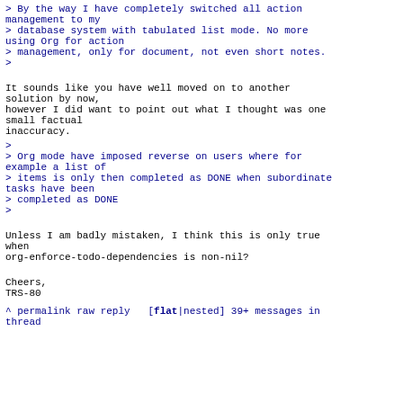> By the way I have completely switched all action management to my
> database system with tabulated list mode. No more using Org for action
> management, only for document, not even short notes.
>
It sounds like you have well moved on to another solution by now,
however I did want to point out what I thought was one small factual
inaccuracy.
>
> Org mode have imposed reverse on users where for example a list of
> items is only then completed as DONE when subordinate tasks have been
> completed as DONE
>
Unless I am badly mistaken, I think this is only true when
org-enforce-todo-dependencies is non-nil?
Cheers,
TRS-80
^ permalink raw reply   [flat|nested] 39+ messages in thread